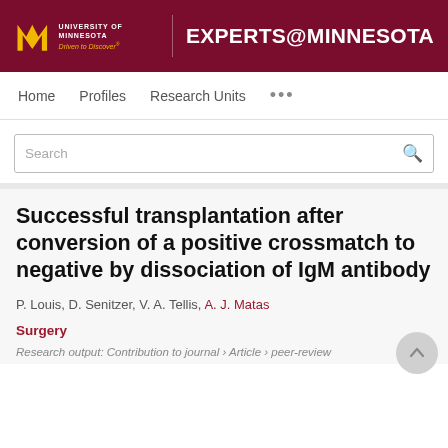[Figure (logo): University of Minnesota Experts@Minnesota header banner with maroon background, M logo, and site title]
Home   Profiles   Research Units   ...
Search
Successful transplantation after conversion of a positive crossmatch to negative by dissociation of IgM antibody
P. Louis, D. Senitzer, V. A. Tellis, A. J. Matas
Surgery
Research output: Contribution to journal › Article › peer-review